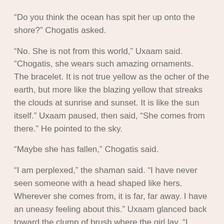“Do you think the ocean has spit her up onto the shore?” Chogatis asked.
“No. She is not from this world,” Uxaam said. “Chogatis, she wears such amazing ornaments. The bracelet. It is not true yellow as the ocher of the earth, but more like the blazing yellow that streaks the clouds at sunrise and sunset. It is like the sun itself.” Uxaam paused, then said, “She comes from there.” He pointed to the sky.
“Maybe she has fallen,” Chogatis said.
“I am perplexed,” the shaman said. “I have never seen someone with a head shaped like hers. Wherever she comes from, it is far, far away. I have an uneasy feeling about this.” Uxaam glanced back toward the clump of brush where the girl lay. “I could not feel her spirit. My instinct says let her be. I will call on the spirits for help.”